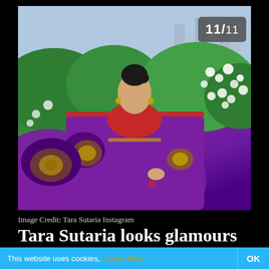[Figure (photo): Tara Sutaria wearing a purple/violet ethnic saree with gold embroidery and red border, standing in front of white flowering plants with a city skyline in the background. A badge showing '11/11' appears in the top right corner of the image.]
Image Credit: Tara Sutaria Instagram
Tara Sutaria looks glamours in ethnic attire
More of : Tara Sutaria
This website uses cookies, Learn More OK